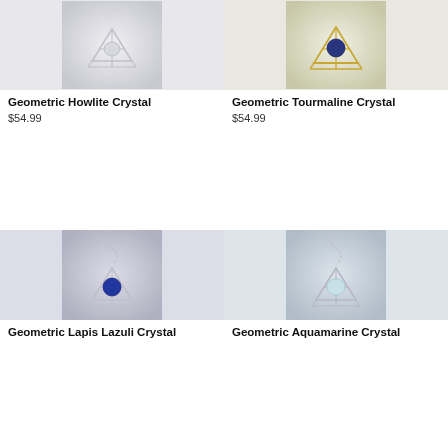[Figure (photo): Geometric Howlite Crystal pendant in silver geometric cage setting, on light grey background]
Geometric Howlite Crystal
$54.99
[Figure (photo): Geometric Tourmaline Crystal pendant in gold geometric cage setting with dark blue/navy stone, on light background]
Geometric Tourmaline Crystal
$54.99
[Figure (photo): Geometric Lapis Lazuli Crystal pendant in silver geometric cage with blue lapis stone, hung on silver chain]
Geometric Lapis Lazuli Crystal
[Figure (photo): Geometric Aquamarine Crystal pendant in silver geometric cage, hung on silver chain, on light background]
Geometric Aquamarine Crystal